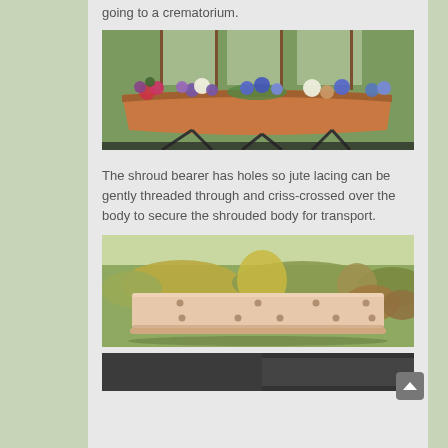going to a crematorium.
[Figure (photo): A wooden coffin/shroud bearer decorated with colorful flowers (purple, white, pink) placed on a stand, with windows and green grass visible in the background.]
The shroud bearer has holes so jute lacing can be gently threaded through and criss-crossed over the body to secure the shrouded body for transport.
[Figure (photo): A flat, light pink/beige shroud bearer (board with holes) displayed outdoors against a garden background with green and brown plants.]
[Figure (photo): Partial view of a dark object at the bottom of the page, cut off.]